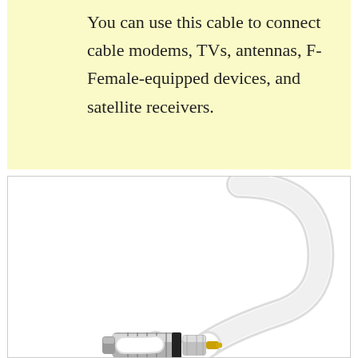You can use this cable to connect cable modems, TVs, antennas, F-Female-equipped devices, and satellite receivers.
[Figure (photo): A white coaxial cable with an F-type male connector (silver/chrome with gold center pin and black ring) at one end, curved in a U/S shape against a white background.]